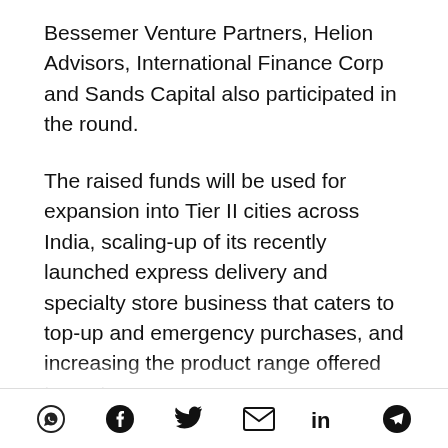Bessemer Venture Partners, Helion Advisors, International Finance Corp and Sands Capital also participated in the round.
The raised funds will be used for expansion into Tier II cities across India, scaling-up of its recently launched express delivery and specialty store business that caters to top-up and emergency purchases, and increasing the product range offered to customers.
Abraaj has been present in India since 2006 and …